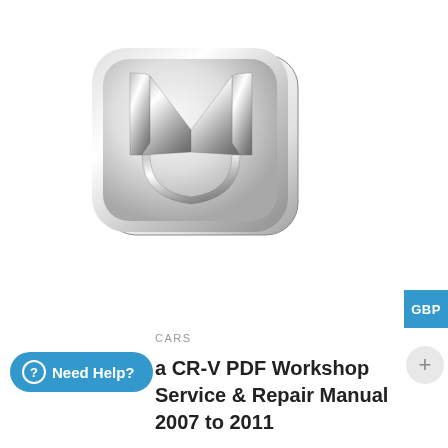[Figure (logo): Honda logo — chrome H emblem on rounded square badge, silver metallic finish]
CARS
Honda CR-V PDF Workshop Service & Repair Manual 2007 to 2011